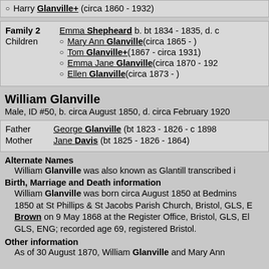Harry Glanville+ (circa 1860 - 1932)
| Label | Value |
| --- | --- |
| Family 2 | Emma Shepheard b. bt 1834 - 1835, d. c ... |
| Children | Mary Ann Glanville (circa 1865 - ) |
|  | Tom Glanville+ (1867 - circa 1931) |
|  | Emma Jane Glanville (circa 1870 - 192...) |
|  | Ellen Glanville (circa 1873 - ) |
William Glanville
Male, ID #50, b. circa August 1850, d. circa February 1920
| Label | Value |
| --- | --- |
| Father | George Glanville (bt 1823 - 1826 - c 1898...) |
| Mother | Jane Davis (bt 1825 - 1826 - 1864) |
Alternate Names
William Glanville was also known as Glantill transcribed i...
Birth, Marriage and Death information
William Glanville was born circa August 1850 at Bedmins... 1850 at St Phillips & St Jacobs Parish Church, Bristol, GLS, E... Brown on 9 May 1868 at the Register Office, Bristol, GLS, E... GLS, ENG; recorded age 69, registered Bristol.
Other information
As of 30 August 1870, William Glanville and Mary Ann...